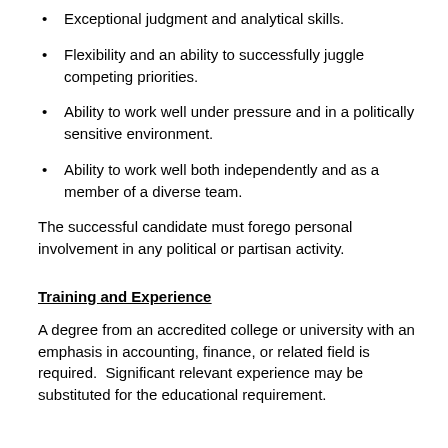Exceptional judgment and analytical skills.
Flexibility and an ability to successfully juggle competing priorities.
Ability to work well under pressure and in a politically sensitive environment.
Ability to work well both independently and as a member of a diverse team.
The successful candidate must forego personal involvement in any political or partisan activity.
Training and Experience
A degree from an accredited college or university with an emphasis in accounting, finance, or related field is required.  Significant relevant experience may be substituted for the educational requirement.